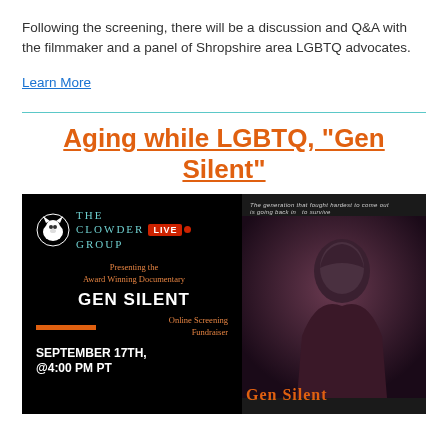Following the screening, there will be a discussion and Q&A with the filmmaker and a panel of Shropshire area LGBTQ advocates.
Learn More
Aging while LGBTQ, "Gen Silent"
[Figure (photo): Event promotional image for The Clowder Group LIVE presenting the award winning documentary GEN SILENT. Online Screening Fundraiser, September 17th, @4:00 PM PT. Right side shows an elderly person. Text at top right reads 'The generation that fought hardest to come out is going back in to survive.' Bottom right shows 'Gen Silent' in orange text.]